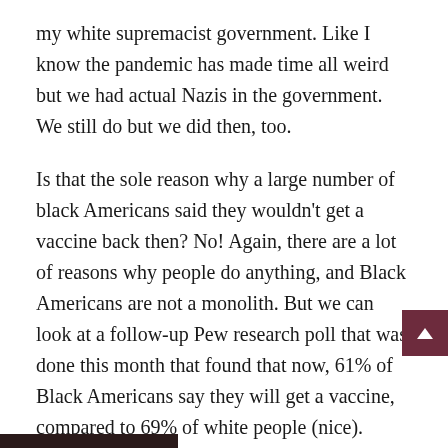my white supremacist government. Like I know the pandemic has made time all weird but we had actual Nazis in the government. We still do but we did then, too.
Is that the sole reason why a large number of black Americans said they wouldn't get a vaccine back then? No! Again, there are a lot of reasons why people do anything, and Black Americans are not a monolith. But we can look at a follow-up Pew research poll that was done this month that found that now, 61% of Black Americans say they will get a vaccine, compared to 69% of white people (nice). Hmm, wonder what changed?
So the main problem Black Americans have isn't vaccine hesitancy, it's vaccine access, as reported in this great article at Rolling Stone and also in this piece at FiveThirtyEight. The tl;dr is we don't have enough vaccine